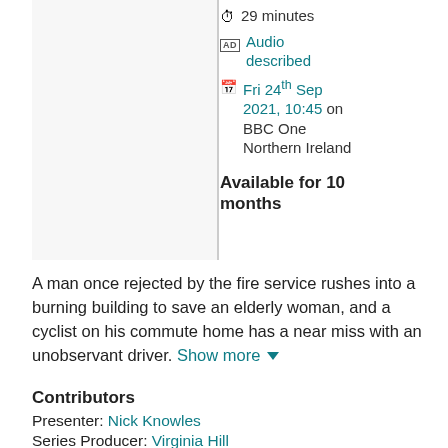29 minutes
Audio described
Fri 24th Sep 2021, 10:45 on BBC One Northern Ireland
Available for 10 months
A man once rejected by the fire service rushes into a burning building to save an elderly woman, and a cyclist on his commute home has a near miss with an unobservant driver. Show more
Contributors
Presenter: Nick Knowles
Series Producer: Virginia Hill